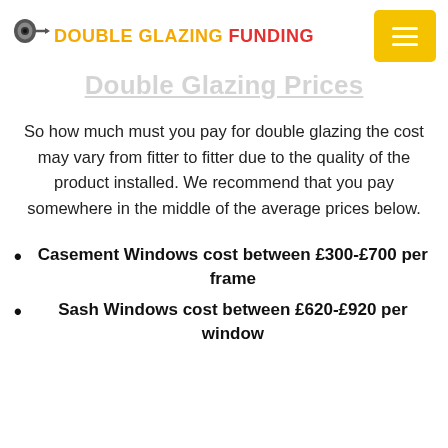DOUBLE GLAZING FUNDING
Double Glazing Prices
So how much must you pay for double glazing the cost may vary from fitter to fitter due to the quality of the product installed. We recommend that you pay somewhere in the middle of the average prices below.
Casement Windows cost between £300-£700 per frame
Sash Windows cost between £620-£920 per window